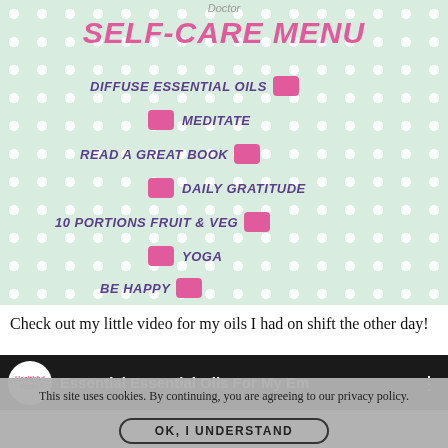[Figure (infographic): Self-care menu infographic on mint green polka-dot background listing: DIFFUSE ESSENTIAL OILS, MEDITATE, READ A GREAT BOOK, DAILY GRATITUDE, 10 PORTIONS FRUIT & VEG, YOGA, BE HAPPY — each with pink tab checkboxes]
Check out my little video for my oils I had on shift the other day!
[Figure (screenshot): Video thumbnail showing Essential Essential Oils For My Em with logo and dark background]
This site uses cookies. By continuing, you are agreeing to our privacy policy.
OK, I UNDERSTAND